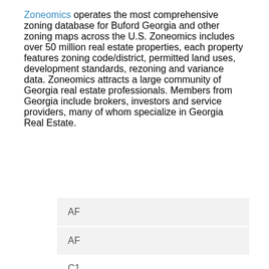Zoneomics operates the most comprehensive zoning database for Buford Georgia and other zoning maps across the U.S. Zoneomics includes over 50 million real estate properties, each property features zoning code/district, permitted land uses, development standards, rezoning and variance data. Zoneomics attracts a large community of Georgia real estate professionals. Members from Georgia include brokers, investors and service providers, many of whom specialize in Georgia Real Estate.
| AF |
| AF |
| C1 |